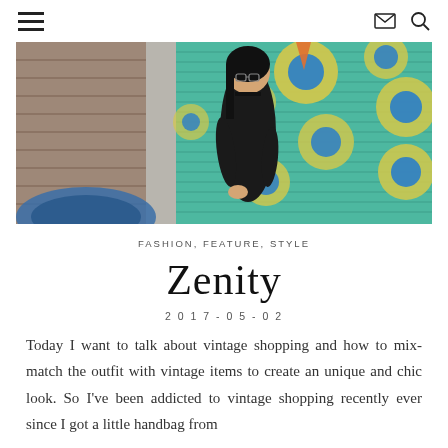≡  ✉ 🔍
[Figure (photo): Blog hero image: woman in black top standing in front of a colorful graffiti mural with green, yellow, and teal circles on a roller shutter. Left side shows brick wall and blue painted surface.]
FASHION, FEATURE, STYLE
Zenity
2017-05-02
Today I want to talk about vintage shopping and how to mix-match the outfit with vintage items to create an unique and chic look. So I've been addicted to vintage shopping recently ever since I got a little handbag from Manhattan Vintage Shop...